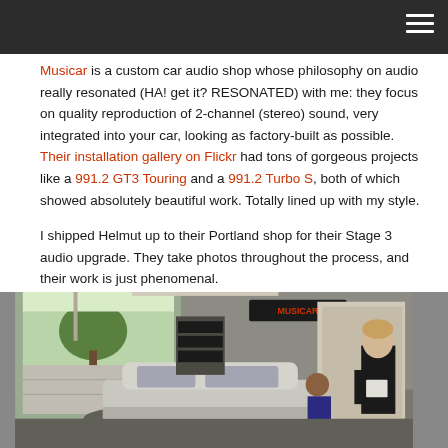Musicar is a custom car audio shop whose philosophy on audio really resonated (HA! get it? RESONATED) with me: they focus on quality reproduction of 2-channel (stereo) sound, very integrated into your car, looking as factory-built as possible. Their installation gallery on Flickr had tons of gorgeous projects like a 991.2 GT3 Touring and a 991.2 Turbo S, both of which showed absolutely beautiful work. Totally lined up with my style.
I shipped Helmut up to their Portland shop for their Stage 3 audio upgrade. They take photos throughout the process, and their work is just phenomenal.
[Figure (photo): Interior of Musicar auto shop showing a silver Porsche being worked on, with a Musicar sign visible on the wall, an open garage door showing trees outside, and a technician in a black shirt in the foreground right.]